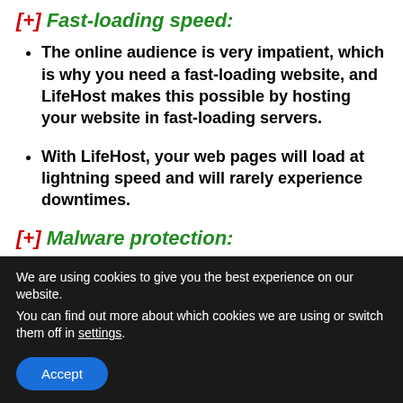[+] Fast-loading speed:
The online audience is very impatient, which is why you need a fast-loading website, and LifeHost makes this possible by hosting your website in fast-loading servers.
With LifeHost, your web pages will load at lightning speed and will rarely experience downtimes.
[+] Malware protection:
This hosting has premium malware protection and conducts routine malware scans for your site to ensure it
We are using cookies to give you the best experience on our website.
You can find out more about which cookies we are using or switch them off in settings.
Accept